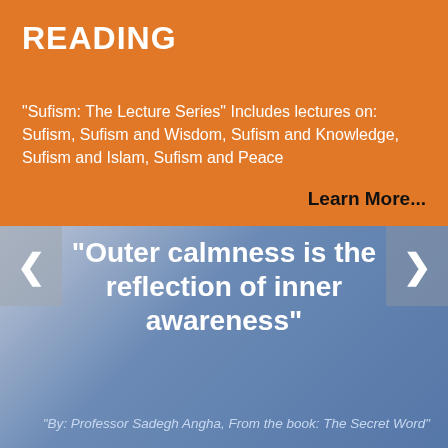READING
“Sufism: The Lecture Series” Includes lectures on: Sufism, Sufism and Wisdom, Sufism and Knowledge, Sufism and Islam, Sufism and Peace
Learn More...
[Figure (infographic): Blue-gray gradient background panel with left and right navigation arrow buttons and a large quotation displayed in the center]
“Outer calmness is the reflection of inner awareness”
“By: Professor Sadegh Angha, From the book: The Secret Word”